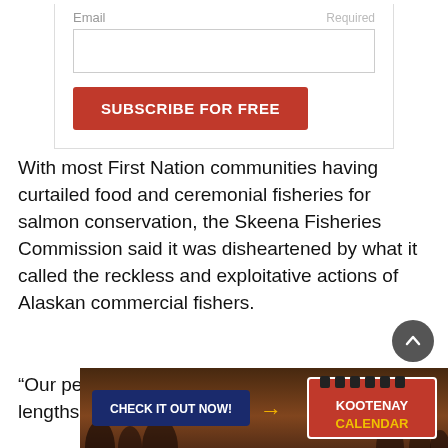Email
Required
SUBSCRIBE FOR FREE
With most First Nation communities having curtailed food and ceremonial fisheries for salmon conservation, the Skeena Fisheries Commission said it was disheartened by what it called the reckless and exploitative actions of Alaskan commercial fishers.
“Our people have gone to extreme lengths to preserve the
[Figure (screenshot): Banner advertisement for Kootenay Calendar with 'CHECK IT OUT NOW!' button and crowd background]